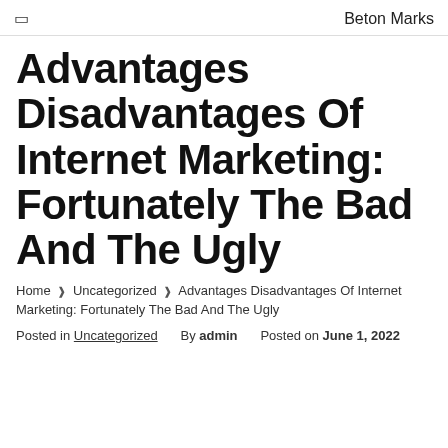☐  Beton Marks
Advantages Disadvantages Of Internet Marketing: Fortunately The Bad And The Ugly
Home ❯ Uncategorized ❯ Advantages Disadvantages Of Internet Marketing: Fortunately The Bad And The Ugly
Posted in Uncategorized   By admin   Posted on June 1, 2022